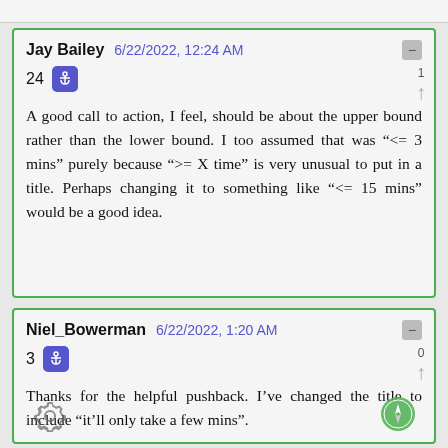Jay Bailey  6/22/2022, 12:24 AM
24
A good call to action, I feel, should be about the upper bound rather than the lower bound. I too assumed that was “<= 3 mins” purely because “>= X time” is very unusual to put in a title. Perhaps changing it to something like “<= 15 mins” would be a good idea.
Niel_Bowerman  6/22/2022, 1:20 AM
3
Thanks for the helpful pushback. I’ve changed the title to include “it’ll only take a few mins”.